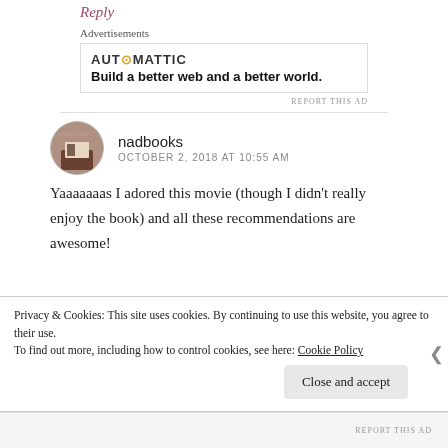Reply
Advertisements
[Figure (other): Automattic advertisement: AUT⊙MATTIC logo with tagline 'Build a better web and a better world.']
REPORT THIS AD
nadbooks
OCTOBER 2, 2018 AT 10:55 AM
Yaaaaaaas I adored this movie (though I didn't really enjoy the book) and all these recommendations are awesome!
Privacy & Cookies: This site uses cookies. By continuing to use this website, you agree to their use. To find out more, including how to control cookies, see here: Cookie Policy
Close and accept
REPORT THIS AD